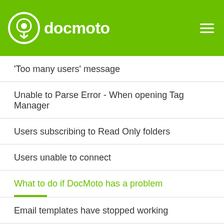docmoto
'Too many users' message
Unable to Parse Error - When opening Tag Manager
Users subscribing to Read Only folders
Users unable to connect
What to do if DocMoto has a problem
Email templates have stopped working
Calendar Entries not Appearing after El Capitan Upgrade
Document Assembly issue with Parallels